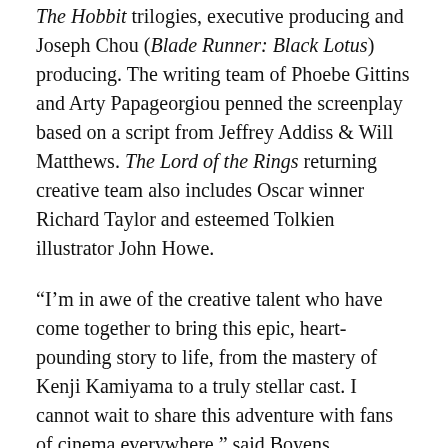The Hobbit trilogies, executive producing and Joseph Chou (Blade Runner: Black Lotus) producing. The writing team of Phoebe Gittins and Arty Papageorgiou penned the screenplay based on a script from Jeffrey Addiss & Will Matthews. The Lord of the Rings returning creative team also includes Oscar winner Richard Taylor and esteemed Tolkien illustrator John Howe.
“I’m in awe of the creative talent who have come together to bring this epic, heart-pounding story to life, from the mastery of Kenji Kamiyama to a truly stellar cast. I cannot wait to share this adventure with fans of cinema everywhere,” said Boyens.
“The Lord of the Rings films took Tolkien’s masterwork to new cinematic heights and inspired a generation. It’s a gift to be able to revisit Middle-earth with many of the same creative visionaries and the talented Kenji Kamiyama at